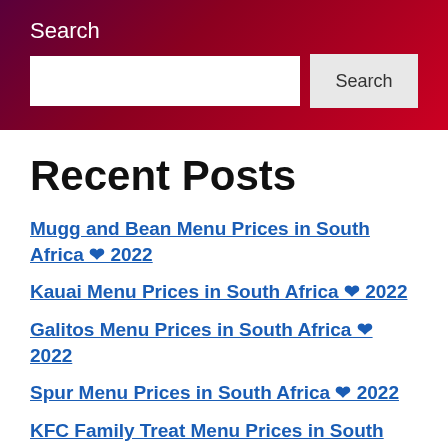Search
Search input and button
Recent Posts
Mugg and Bean Menu Prices in South Africa ❤ 2022
Kauai Menu Prices in South Africa ❤ 2022
Galitos Menu Prices in South Africa ❤ 2022
Spur Menu Prices in South Africa ❤ 2022
KFC Family Treat Menu Prices in South Africa ❤ 2022